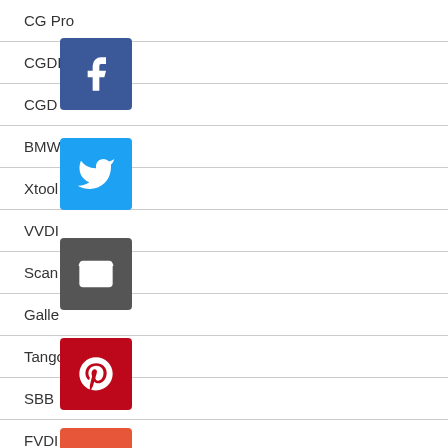CG Pro
CGDI MB
CGD
BMW
Xtool ad2
VVDI
Scan
Galle
Tango
SBB
FVDI 2018
Ford IDS
MB SD C4
ELM327